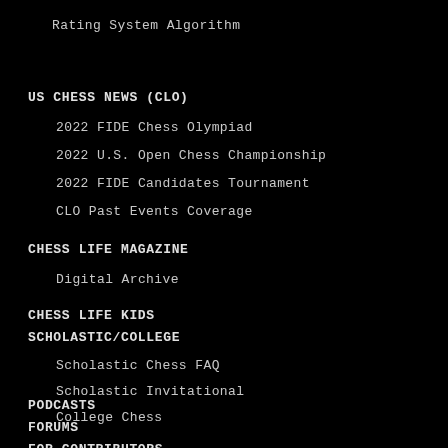Rating System Algorithm
US CHESS NEWS (CLO)
2022 FIDE Chess Olympiad
2022 U.S. Open Chess Championship
2022 FIDE Candidates Tournament
CLO Past Events Coverage
CHESS LIFE MAGAZINE
Digital Archive
CHESS LIFE KIDS
SCHOLASTIC/COLLEGE
Scholastic Chess FAQ
Scholastic Invitational
College Chess
PODCASTS
FORUMS
FOR CONTRIBUTORS